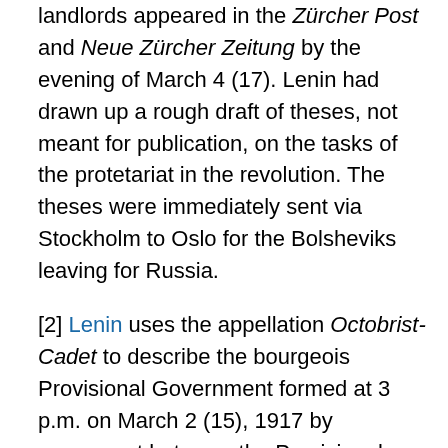landlords appeared in the Zürcher Post and Neue Zürcher Zeitung by the evening of March 4 (17). Lenin had drawn up a rough draft of theses, not meant for publication, on the tasks of the protetariat in the revolution. The theses were immediately sent via Stockholm to Oslo for the Bolsheviks leaving for Russia.
[2] Lenin uses the appellation Octobrist-Cadet to describe the bourgeois Provisional Government formed at 3 p.m. on March 2 (15), 1917 by agreement between the Provisional Committee of the State Duma and the Socialist-Revolutionary and Menshevik leaders of the Executive Committee of the Petrograd Soviet of Workers' and Soldiers' Deputies. The government was made up of Prince G. Y. Lvov (Prime Minister and Minister of the Interior), the Cadet leader P. N. Milyukov (Minister of Foreign Affairs), the Octobrist leader A. I. Guchkov